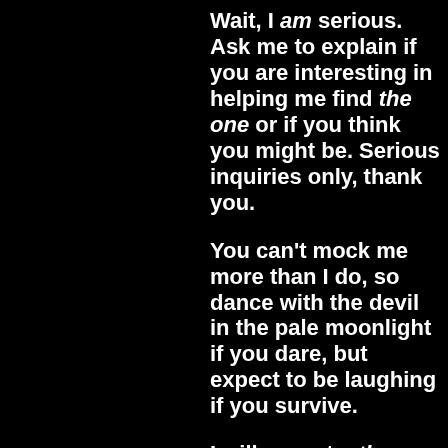Wait, I am serious. Ask me to explain if you are interesting in helping me find the one or if you think you might be. Serious inquiries only, thank you.
You can't mock me more than I do, so dance with the devil in the pale moonlight if you dare, but expect to be laughing if you survive.
I will accept a the one (it just dawned on me